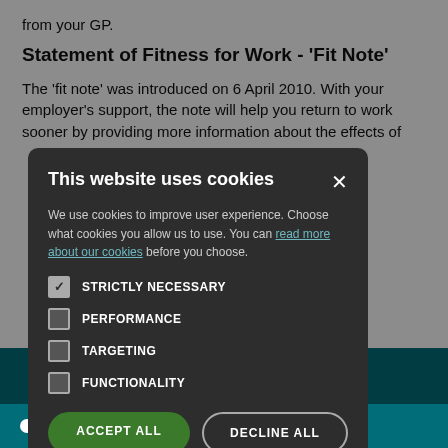from your GP.
Statement of Fitness for Work - 'Fit Note'
The 'fit note' was introduced on 6 April 2010. With your employer's support, the note will help you return to work sooner by providing more information about the effects of
[Figure (screenshot): Cookie consent modal dialog with dark background. Title: 'This website uses cookies'. Body text explains cookie usage with a link 'read more about our cookies'. Four checkbox options: STRICTLY NECESSARY (checked), PERFORMANCE (unchecked), TARGETING (unchecked), FUNCTIONALITY (unchecked). Two buttons: ACCEPT ALL (green) and DECLINE ALL (outline).]
NHS Inform